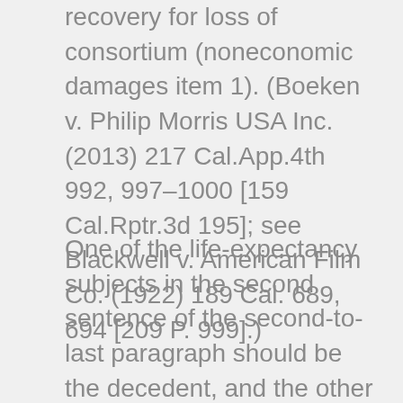recovery for loss of consortium (noneconomic damages item 1). (Boeken v. Philip Morris USA Inc. (2013) 217 Cal.App.4th 992, 997–1000 [159 Cal.Rptr.3d 195]; see Blackwell v. American Film Co. (1922) 189 Cal. 689, 694 [209 P. 999].)
One of the life-expectancy subjects in the second sentence of the second-to-last paragraph should be the decedent, and the other should be the plaintiff. This definition is intended to apply to the element of damages pertaining to the financial support that the decedent would have provided to the plaintiff.